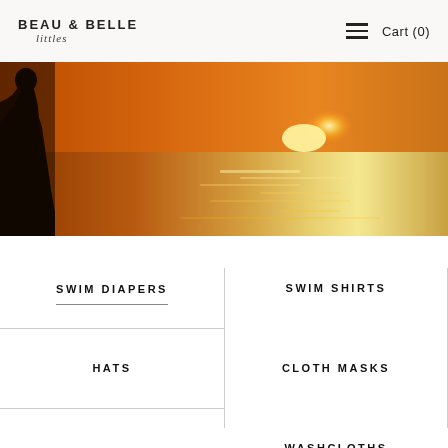BEAU & BELLE littles   Cart (0)
[Figure (photo): Sunset beach scene with silhouette of a child on the left and golden orange water with sun reflection on the right]
SWIM DIAPERS
SWIM SHIRTS
CLOTH MASKS
HATS
WASHCLOTHS